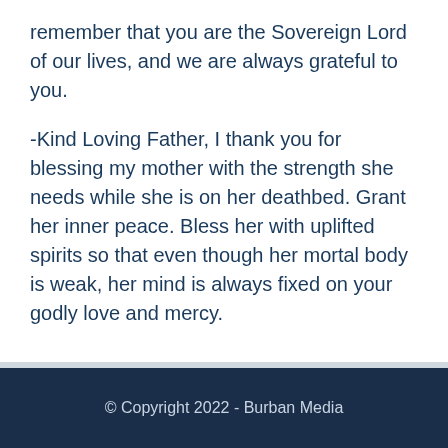remember that you are the Sovereign Lord of our lives, and we are always grateful to you.
-Kind Loving Father, I thank you for blessing my mother with the strength she needs while she is on her deathbed. Grant her inner peace. Bless her with uplifted spirits so that even though her mortal body is weak, her mind is always fixed on your godly love and mercy.
© Copyright 2022 - Burban Media